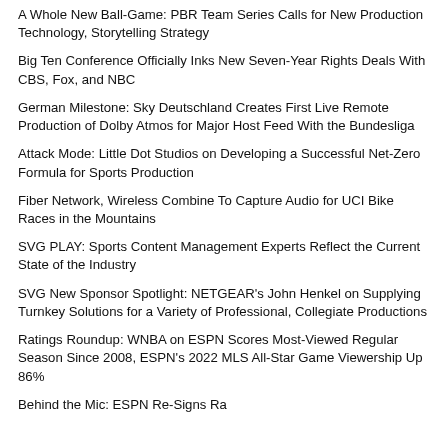A Whole New Ball-Game: PBR Team Series Calls for New Production Technology, Storytelling Strategy
Big Ten Conference Officially Inks New Seven-Year Rights Deals With CBS, Fox, and NBC
German Milestone: Sky Deutschland Creates First Live Remote Production of Dolby Atmos for Major Host Feed With the Bundesliga
Attack Mode: Little Dot Studios on Developing a Successful Net-Zero Formula for Sports Production
Fiber Network, Wireless Combine To Capture Audio for UCI Bike Races in the Mountains
SVG PLAY: Sports Content Management Experts Reflect the Current State of the Industry
SVG New Sponsor Spotlight: NETGEAR's John Henkel on Supplying Turnkey Solutions for a Variety of Professional, Collegiate Productions
Ratings Roundup: WNBA on ESPN Scores Most-Viewed Regular Season Since 2008, ESPN's 2022 MLS All-Star Game Viewership Up 86%
Behind the Mic: ESPN Re-Signs Ra